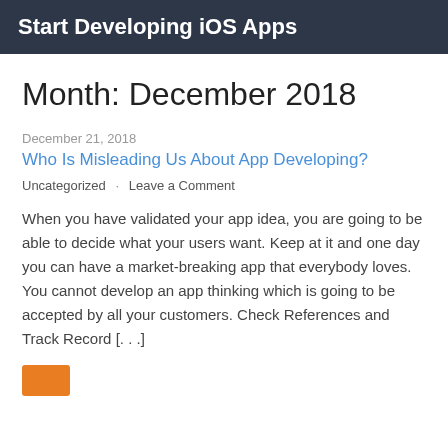Start Developing iOS Apps
Month: December 2018
December 21, 2018
Who Is Misleading Us About App Developing?
Uncategorized · Leave a Comment
When you have validated your app idea, you are going to be able to decide what your users want. Keep at it and one day you can have a market-breaking app that everybody loves. You cannot develop an app thinking which is going to be accepted by all your customers. Check References and Track Record [. . .]